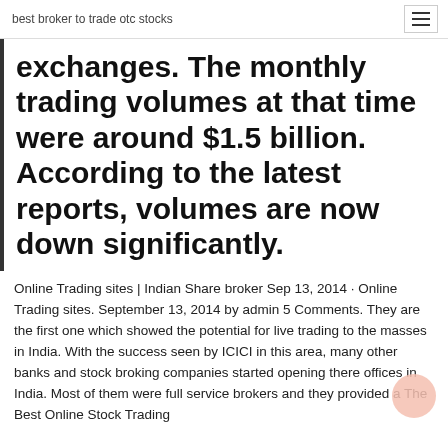best broker to trade otc stocks
exchanges. The monthly trading volumes at that time were around $1.5 billion. According to the latest reports, volumes are now down significantly.
Online Trading sites | Indian Share broker Sep 13, 2014 · Online Trading sites. September 13, 2014 by admin 5 Comments. They are the first one which showed the potential for live trading to the masses in India. With the success seen by ICICI in this area, many other banks and stock broking companies started opening there offices in India. Most of them were full service brokers and they provided a The Best Online Stock Trading